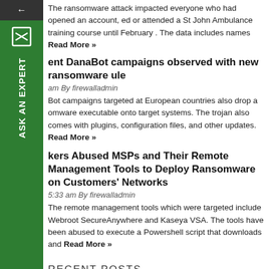The ransomware attack impacted everyone who had opened an account, ed or attended a St John Ambulance training course until February . The data includes names Read More »
ent DanaBot campaigns observed with new ransomware ule
am By firewalladmin
Bot campaigns targeted at European countries also drop a omware executable onto target systems. The trojan also comes with plugins, configuration files, and other updates. Read More »
kers Abused MSPs and Their Remote Management Tools to Deploy Ransomware on Customers' Networks
5:33 am By firewalladmin
The remote management tools which were targeted include Webroot SecureAnywhere and Kaseya VSA. The tools have been abused to execute a Powershell script that downloads and Read More »
RECENT POSTS
WatchGuard Firewall Support India
1:37 pm By firewalladmin